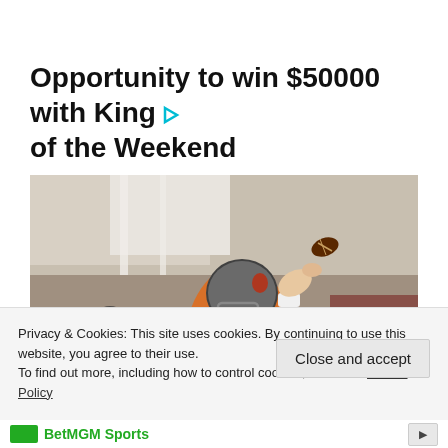Opportunity to win $50000 with King of the Weekend
[Figure (photo): NFL quarterback wearing an orange jersey and helmet in throwing pose, arm raised with football, outdoors at practice or game, crowd/tent structures visible in background]
Privacy & Cookies: This site uses cookies. By continuing to use this website, you agree to their use. To find out more, including how to control cookies, see here: Cookie Policy
Close and accept
BetMGM Sports